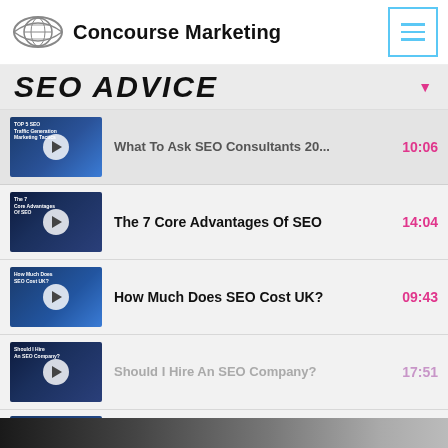Concourse Marketing
SEO ADVICE
What To Ask SEO Consultants 20... 10:06
The 7 Core Advantages Of SEO 14:04
How Much Does SEO Cost UK? 09:43
Should I Hire An SEO Company? 17:51